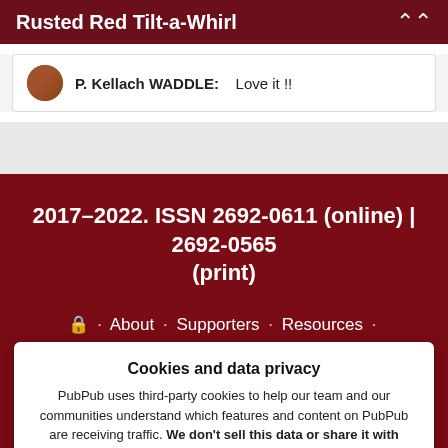Rusted Red Tilt-a-Whirl
P. Kellach WADDLE:    Love it !!
2017–2022. ISSN 2692-0611 (online) | 2692-0565 (print)
🔒 · About · Supporters · Resources · Get Print Issues · Open Access Literature · Public Archives · San Antonio Review Press ·
Cookies and data privacy
PubPub uses third-party cookies to help our team and our communities understand which features and content on PubPub are receiving traffic. We don't sell this data or share it with anyone else, and we don't use third-party processors who aggregate and sell data. Visit your privacy settings to learn more.
Accept   Disable
San Antonio Review